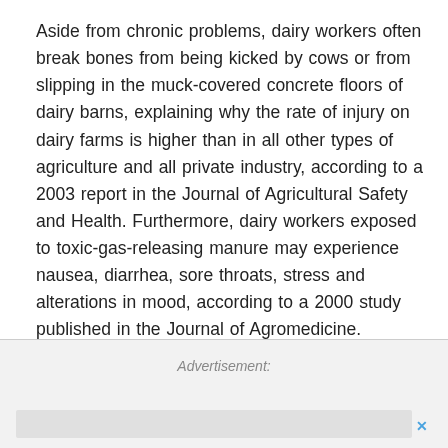Aside from chronic problems, dairy workers often break bones from being kicked by cows or from slipping in the muck-covered concrete floors of dairy barns, explaining why the rate of injury on dairy farms is higher than in all other types of agriculture and all private industry, according to a 2003 report in the Journal of Agricultural Safety and Health. Furthermore, dairy workers exposed to toxic-gas-releasing manure may experience nausea, diarrhea, sore throats, stress and alterations in mood, according to a 2000 study published in the Journal of Agromedicine.
Advertisement: